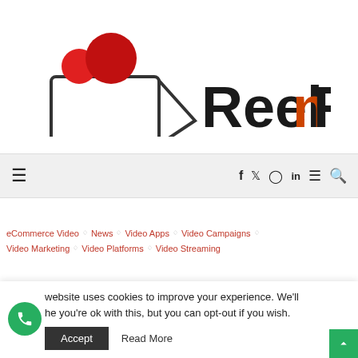[Figure (logo): ReelnReel logo: a video camera icon with two red circles on top, followed by text 'ReelnReel' where the 'n' is in orange/red and the rest is dark/black]
Navigation bar with hamburger menu icon on left and social icons (f, twitter, instagram, in, menu, search) on right
eCommerce Video ◇ News ◇ Video Apps ◇ Video Campaigns ◇ Video Marketing ◇ Video Platforms ◇ Video Streaming
website uses cookies to improve your experience. We'll he you're ok with this, but you can opt-out if you wish.
Accept   Read More